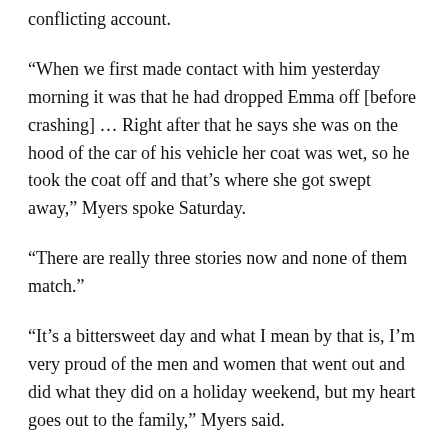conflicting account.
“When we first made contact with him yesterday morning it was that he had dropped Emma off [before crashing] … Right after that he says she was on the hood of the car of his vehicle her coat was wet, so he took the coat off and that’s where she got swept away,” Myers spoke Saturday.
“There are really three stories now and none of them match.”
“It’s a bittersweet day and what I mean by that is, I’m very proud of the men and women that went out and did what they did on a holiday weekend, but my heart goes out to the family,” Myers said.
Stephen Wheeles, Indiana State Police Sergeant